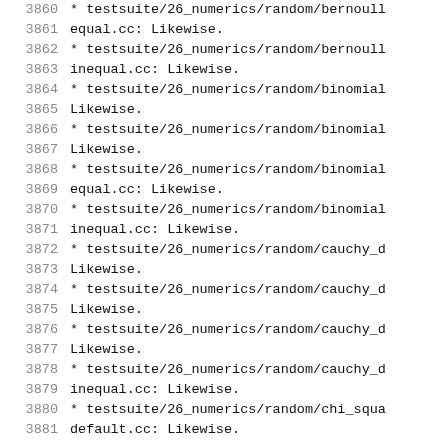3860    * testsuite/26_numerics/random/bernoull
3861      equal.cc: Likewise.
3862    * testsuite/26_numerics/random/bernoull
3863      inequal.cc: Likewise.
3864    * testsuite/26_numerics/random/binomial
3865      Likewise.
3866    * testsuite/26_numerics/random/binomial
3867      Likewise.
3868    * testsuite/26_numerics/random/binomial
3869      equal.cc: Likewise.
3870    * testsuite/26_numerics/random/binomial
3871      inequal.cc: Likewise.
3872    * testsuite/26_numerics/random/cauchy_d
3873      Likewise.
3874    * testsuite/26_numerics/random/cauchy_d
3875      Likewise.
3876    * testsuite/26_numerics/random/cauchy_d
3877      Likewise.
3878    * testsuite/26_numerics/random/cauchy_d
3879      inequal.cc: Likewise.
3880    * testsuite/26_numerics/random/chi_squa
3881      default.cc: Likewise.